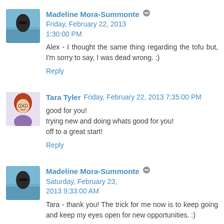[Figure (photo): Avatar photo of Madeline Mora-Summonte, beach background]
Madeline Mora-Summonte [edit icon] Friday, February 22, 2013 1:30:00 PM
Alex - I thought the same thing regarding the tofu but, I'm sorry to say, I was dead wrong. :)
Reply
[Figure (illustration): Avatar illustration of Tara Tyler, cartoon woman with red hair]
Tara Tyler Friday, February 22, 2013 7:35:00 PM
good for you!
trying new and doing whats good for you!
off to a great start!
Reply
[Figure (photo): Avatar photo of Madeline Mora-Summonte, beach background]
Madeline Mora-Summonte [edit icon] Saturday, February 23, 2013 9:33:00 AM
Tara - thank you! The trick for me now is to keep going and keep my eyes open for new opportunities. :)